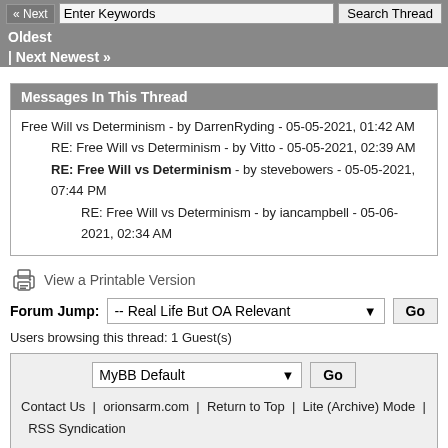« Next | Enter Keywords | Search Thread | Oldest | Next Newest »
Messages In This Thread
Free Will vs Determinism - by DarrenRyding - 05-05-2021, 01:42 AM
RE: Free Will vs Determinism - by Vitto - 05-05-2021, 02:39 AM
RE: Free Will vs Determinism - by stevebowers - 05-05-2021, 07:44 PM
RE: Free Will vs Determinism - by iancampbell - 05-06-2021, 02:34 AM
View a Printable Version
Forum Jump: -- Real Life But OA Relevant | Go
Users browsing this thread: 1 Guest(s)
MyBB Default | Go | Contact Us | orionsarm.com | Return to Top | Lite (Archive) Mode | RSS Syndication
Powered By MyBB, © 2002-2022 MyBB Group.